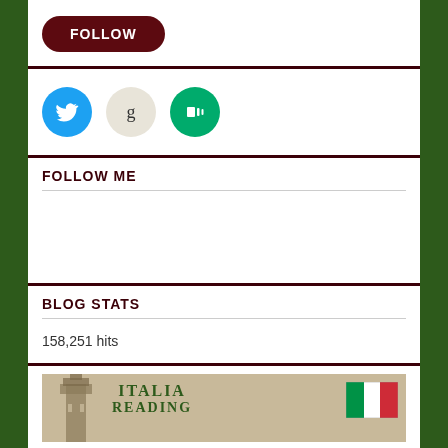[Figure (other): FOLLOW button - dark red rounded pill button with white text]
[Figure (other): Social media icons: Twitter (blue bird), Goodreads (g on beige), Medium (M on green)]
FOLLOW ME
BLOG STATS
158,251 hits
[Figure (illustration): Italia Reading banner image showing a tower/campanile silhouette, green text reading ITALIA READING, and an Italian flag]